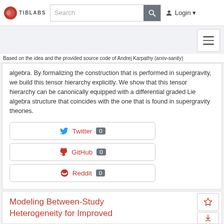TIB LABS | Search | Login
Based on the idea and the provided source code of Andrej Karpathy (arxiv-sanity)
algebra. By formalizing the construction that is performed in supergravity, we build this tensor hierarchy explicitly. We show that this tensor hierarchy can be canonically equipped with a differential graded Lie algebra structure that coincides with the one that is found in supergravity theories.
Twitter 0
GitHub 0
Reddit 0
Modeling Between-Study Heterogeneity for Improved